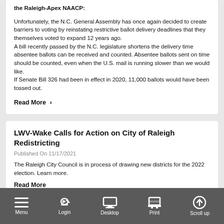the Raleigh-Apex NAACP:
Unfortunately, the N.C. General Assembly has once again decided to create barriers to voting by reinstating restrictive ballot delivery deadlines that they themselves voted to expand 12 years ago.
A bill recently passed by the N.C. legislature shortens the delivery time absentee ballots can be received and counted. Absentee ballots sent on time should be counted, even when the U.S. mail is running slower than we would like.
If Senate Bill 326 had been in effect in 2020, 11,000 ballots would have been tossed out.
Read More >
LWV-Wake Calls for Action on City of Raleigh Redistricting
Published On 11/17/2021
The Raleigh City Council is in process of drawing new districts for the 2022 election. Learn more.
Read More
Menu | Login | Desktop | Print | Scroll up